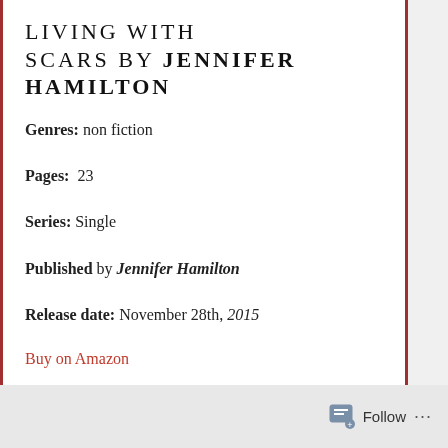Living with Scars by Jennifer Hamilton
Genres: non fiction
Pages: 23
Series: Single
Published by Jennifer Hamilton
Release date: November 28th, 2015
Buy on Amazon
Goodreads